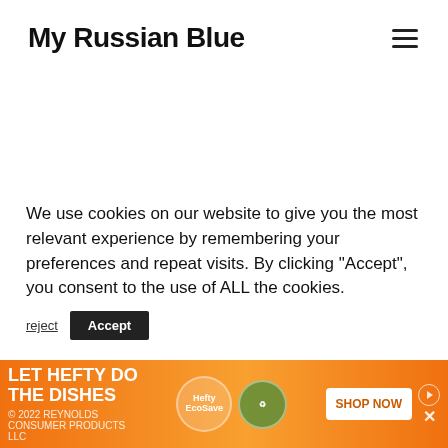My Russian Blue
We use cookies on our website to give you the most relevant experience by remembering your preferences and repeat visits. By clicking “Accept”, you consent to the use of ALL the cookies.
[Figure (infographic): Advertisement banner for Hefty brand dish products with orange gradient background. Text reads 'LET HEFTY DO THE DISHES' with Hefty EcoSave product images and 'SHOP NOW' call to action button. Copyright 2022 Reynolds Consumer Products LLC.]